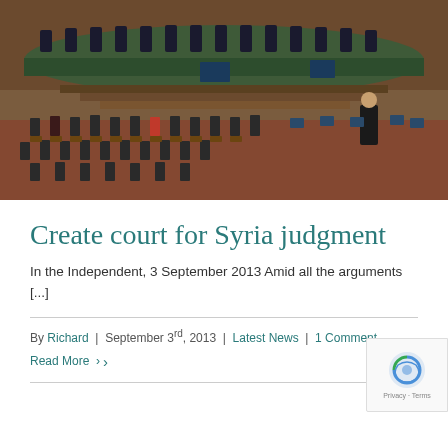[Figure (photo): Interior of an international court of justice chamber showing judges seated at a curved bench, attorneys and observers in rows of wooden chairs, photographed from an elevated angle]
Create court for Syria judgment
In the Independent, 3 September 2013 Amid all the arguments [...]
By Richard | September 3rd, 2013 | Latest News | 1 Comment
Read More ›